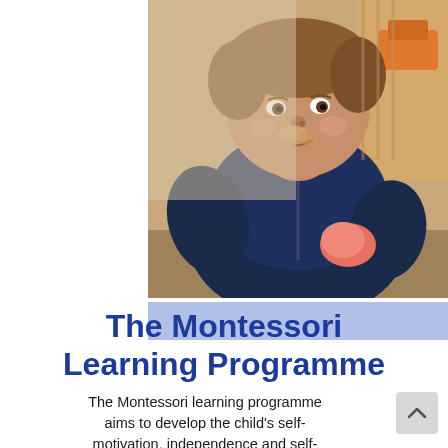[Figure (photo): A young toddler eating with a spoon, wearing a dark blue jacket with food on their face. The child is seated at a wooden tray. Background shows a blurred indoor play environment.]
The Montessori Learning Programme
The Montessori learning programme aims to develop the child's self-motivation, independence and self-respect. It places no restraints on a child's ability and provides children with a step-by-step understanding of complex abstract concepts through the